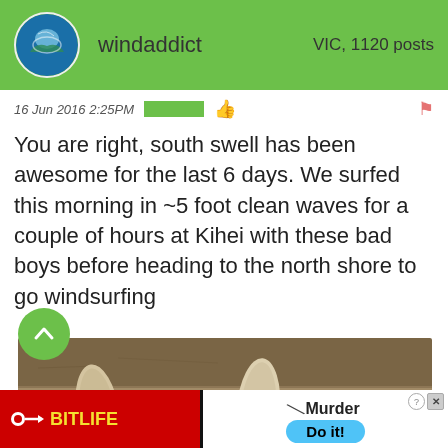windaddict   VIC, 1120 posts
16 Jun 2016 2:25PM
You are right, south swell has been awesome for the last 6 days. We surfed this morning in ~5 foot clean waves for a couple of hours at Kihei with these bad boys before heading to the north shore to go windsurfing
[Figure (photo): Photo of two surfboards lying on sandy beach, viewed from above, showing the nose ends of the boards.]
[Figure (screenshot): Advertisement banner for BitLife game with 'Murder Do it!' text and a close button.]